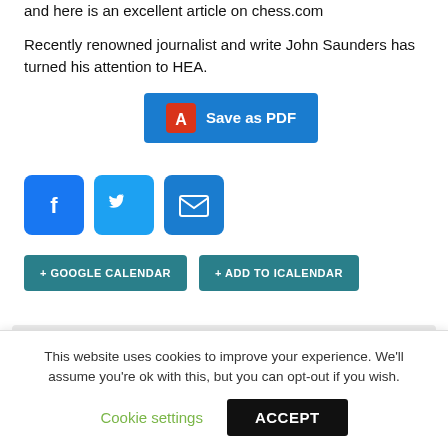and here is an excellent article on chess.com
Recently renowned journalist and write John Saunders has turned his attention to HEA.
[Figure (other): Save as PDF button with Adobe PDF icon, blue background]
[Figure (other): Social share icons: Facebook (blue), Twitter (light blue), Email (blue)]
[Figure (other): + GOOGLE CALENDAR and + ADD TO ICALENDAR buttons in teal]
Details
Date:
This website uses cookies to improve your experience. We'll assume you're ok with this, but you can opt-out if you wish.
Cookie settings
ACCEPT